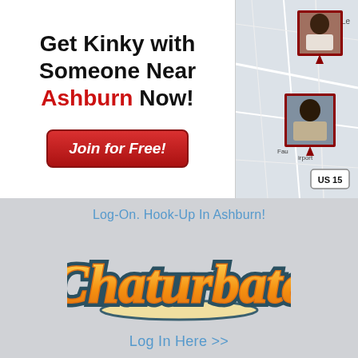Get Kinky with Someone Near Ashburn Now!
Join for Free!
[Figure (map): A road map showing the area near Ashburn/Fauquier area with two profile photo thumbnails pinned on the map, US 15 highway label visible]
Log-On. Hook-Up In Ashburn!
[Figure (logo): Chaturbate logo in orange and yellow script font with teal outline on gray background]
Log In Here >>